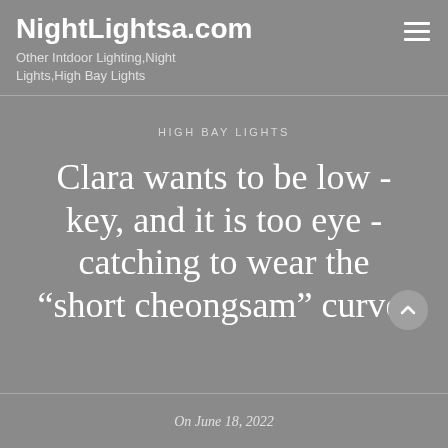NightLightsa.com
Other Intdoor Lighting,Night Lights,High Bay Lights
HIGH BAY LIGHTS
Clara wants to be low - key, and it is too eye - catching to wear the “short cheongsam” curve.
On June 18, 2022